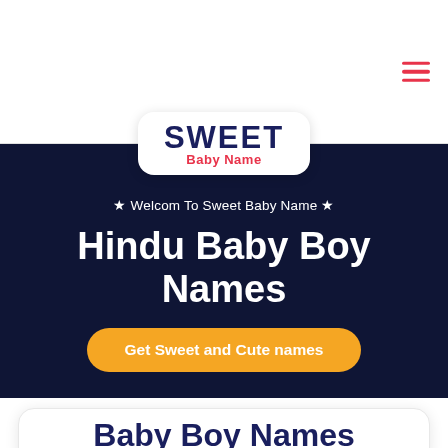Sweet Baby Name
[Figure (logo): Sweet Baby Name logo — white rounded rectangle with SWEET in dark navy bold text and Baby Name in red below]
★ Welcom To Sweet Baby Name ★
Hindu Baby Boy Names
Get Sweet and Cute names
Baby Boy Names